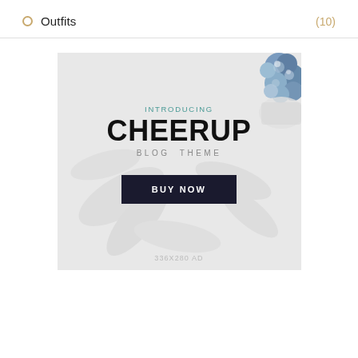Outfits (10)
[Figure (illustration): Advertisement banner for CheerUp Blog Theme. Light grey/white marbled background with blue floral arrangement in top-right corner. Text reads: INTRODUCING / CHEERUP / BLOG THEME. Dark navy 'BUY NOW' button. Footer text: 336X280 AD.]